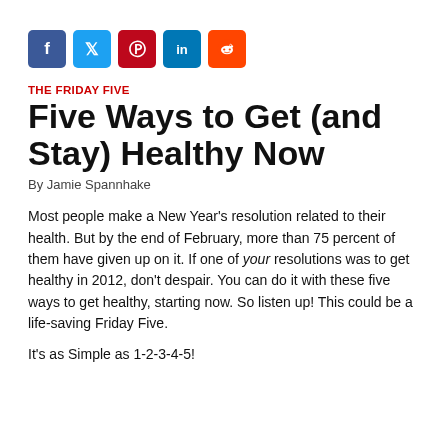[Figure (infographic): Five social media share buttons: Facebook (blue), Twitter (light blue), Pinterest (red), LinkedIn (dark blue), Reddit (orange)]
THE FRIDAY FIVE
Five Ways to Get (and Stay) Healthy Now
By Jamie Spannhake
Most people make a New Year’s resolution related to their health. But by the end of February, more than 75 percent of them have given up on it. If one of your resolutions was to get healthy in 2012, don’t despair. You can do it with these five ways to get healthy, starting now. So listen up! This could be a life-saving Friday Five.
It’s as Simple as 1-2-3-4-5!